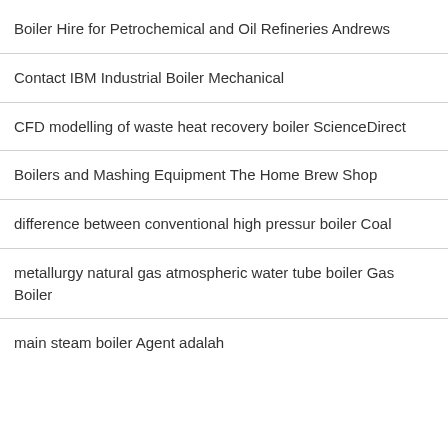Boiler Hire for Petrochemical and Oil Refineries Andrews
Contact IBM Industrial Boiler Mechanical
CFD modelling of waste heat recovery boiler ScienceDirect
Boilers and Mashing Equipment The Home Brew Shop
difference between conventional high pressur boiler Coal
metallurgy natural gas atmospheric water tube boiler Gas Boiler
main steam boiler Agent adalah